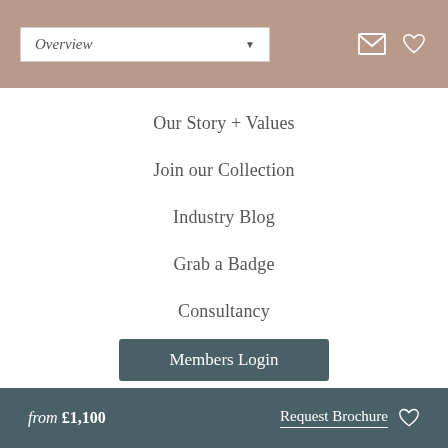Overview
Our Story + Values
Join our Collection
Industry Blog
Grab a Badge
Consultancy
Members Login
For Suppliers
Our Story + Values
from £1,100  Request Brochure